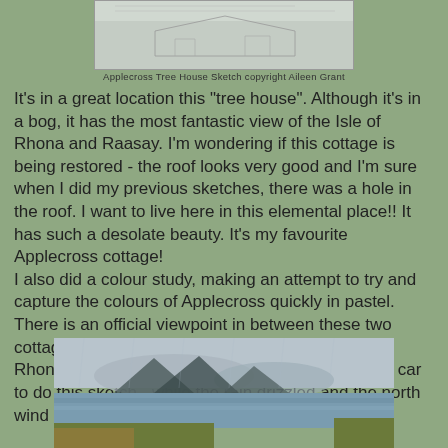[Figure (photo): Applecross Tree House Sketch - a pencil sketch of a cottage]
Applecross Tree House Sketch copyright Aileen Grant
It's in a great location this "tree house". Although it's in a bog, it has the most fantastic view of the Isle of Rhona and Raasay.  I'm wondering if this cottage is being restored - the roof looks very good and I'm sure when I did my previous sketches, there was a hole in the roof. I want to live here in this elemental place!! It has such a desolate beauty.  It's my favourite Applecross cottage!
I also did a colour study, making an attempt to try and capture the colours of Applecross quickly in pastel.  There is an official viewpoint in between these two cottages where there is the most fantastic view of Rhona, Raasay and Skye. I cheated and sat in the car to do this sketch - while the rain drizzled and the north wind blew.
[Figure (photo): Colour pastel study of the view from Applecross showing Rhona, Raasay and Skye with mountains, water and coastal scenery]